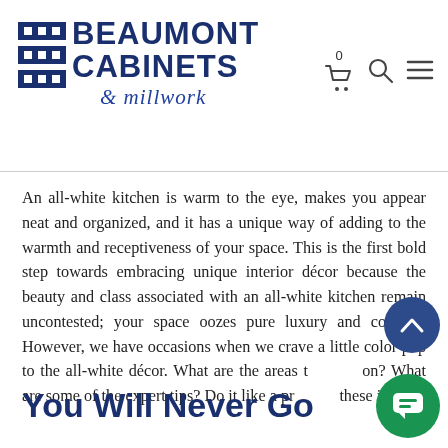Beaumont Cabinets & millwork — navigation header with logo, cart icon (0), search icon, and menu icon
An all-white kitchen is warm to the eye, makes you appear neat and organized, and it has a unique way of adding to the warmth and receptiveness of your space. This is the first bold step towards embracing unique interior décor because the beauty and class associated with an all-white kitchen remain uncontested; your space oozes pure luxury and comfort. However, we have occasions when we crave a little color pop to the all-white décor. What are the areas to focus on? What are some of the expert tips? Do it like a pro with these ideas.
You Will Never Go